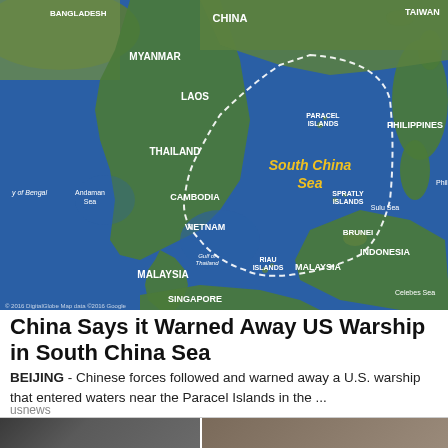[Figure (map): Satellite map of Southeast Asia showing the South China Sea region, with country labels including China, Myanmar, Laos, Thailand, Cambodia, Vietnam, Malaysia, Singapore, Indonesia, Philippines, Brunei, Bangladesh, Taiwan. Features dotted line marking disputed South China Sea territory, with labels for Paracel Islands, Spratly Islands, Riau Islands, and various seas.]
China Says it Warned Away US Warship in South China Sea
BEIJING -  Chinese forces followed and warned away a U.S. warship that entered waters near the Paracel Islands in the ...
usnews
[Figure (photo): Partial view of two people at the bottom of the page, cropped.]